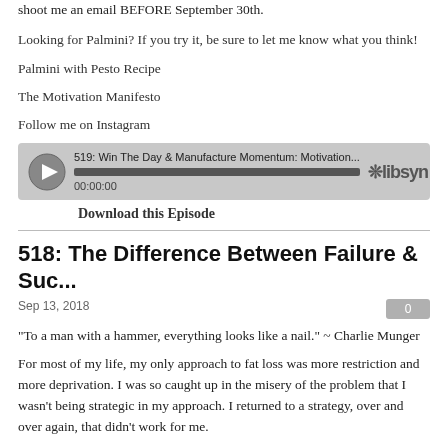shoot me an email BEFORE September 30th.
Looking for Palmini? If you try it, be sure to let me know what you think!
Palmini with Pesto Recipe
The Motivation Manifesto
Follow me on Instagram
[Figure (other): Libsyn podcast audio player widget showing episode '519: Win The Day & Manufacture Momentum: Motivation...' with play button, progress bar, timestamp 00:00:00 and Libsyn logo]
Download this Episode
518: The Difference Between Failure & Suc...
Sep 13, 2018
"To a man with a hammer, everything looks like a nail." ~ Charlie Munger
For most of my life, my only approach to fat loss was more restriction and more deprivation. I was so caught up in the misery of the problem that I wasn't being strategic in my approach. I returned to a strategy, over and over again, that didn't work for me.
In today's episode we're going to talk about the common strategies people